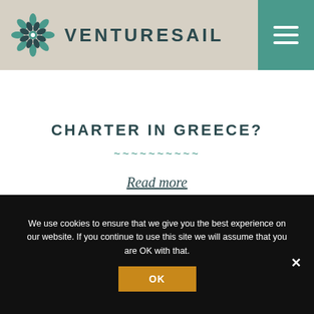VENTURESAIL
CHARTER IN GREECE?
Read more
VIEW THE WHOLE LOG
We use cookies to ensure that we give you the best experience on our website. If you continue to use this site we will assume that you are OK with that.
OK